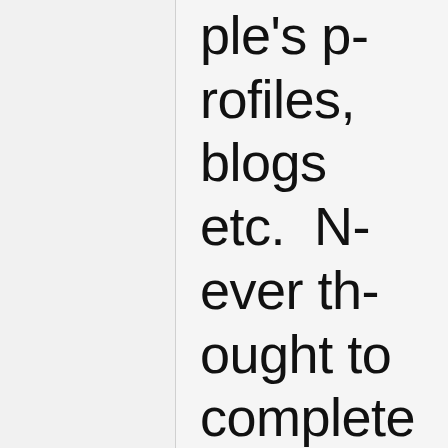ple's profiles, blogs etc.  Never thought to complete o